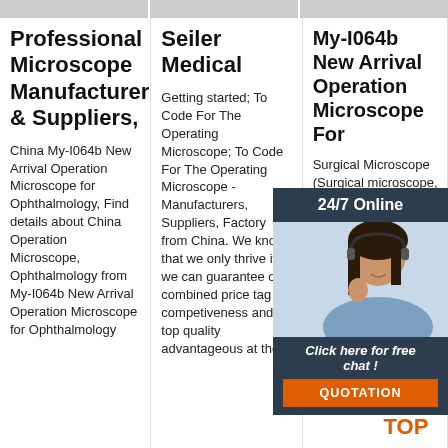Professional Microscope Manufacturers & Suppliers,
China My-I064b New Arrival Operation Microscope for Ophthalmology, Find details about China Operation Microscope, Ophthalmology from My-I064b New Arrival Operation Microscope for Ophthalmology
Seiler Medical
Getting started; To Code For The Operating Microscope; To Code For The Operating Microscope - Manufacturers, Suppliers, Factory from China. We know that we only thrive if we can guarantee our combined price tag competiveness and top quality advantageous at the...
My-I064b New Arrival Operation Microscope For
Surgical Microscope (Surgical microscope, surgical microscope) can be used to optimise details of root details, identify and remove fractured root canal instruments or calcifications), a detailed view over the resection
[Figure (photo): Customer service representative with headset, overlay widget with 24/7 Online label, Click here for free chat, and QUOTATION button]
[Figure (logo): TOP logo with orange dots arranged in triangle above orange TOP text]